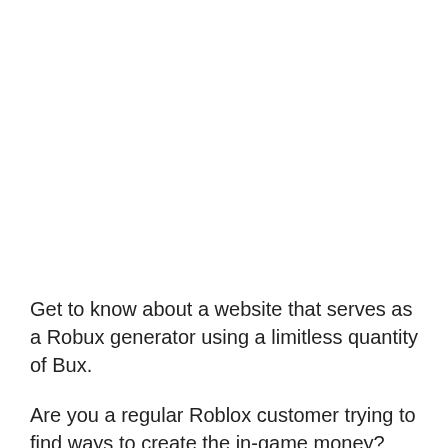Get to know about a website that serves as a Robux generator using a limitless quantity of Bux.
Are you a regular Roblox customer trying to find ways to create the in-game money? Web Sites like Rux have been used by the company's players